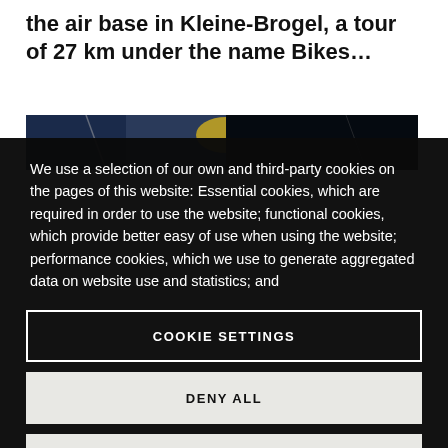the air base in Kleine-Brogel, a tour of 27 km under the name Bikes…
[Figure (photo): Partial photo strip visible behind cookie consent overlay, showing dark background with some objects]
We use a selection of our own and third-party cookies on the pages of this website: Essential cookies, which are required in order to use the website; functional cookies, which provide better easy of use when using the website; performance cookies, which we use to generate aggregated data on website use and statistics; and
COOKIE SETTINGS
DENY ALL
ACCEPT ALL